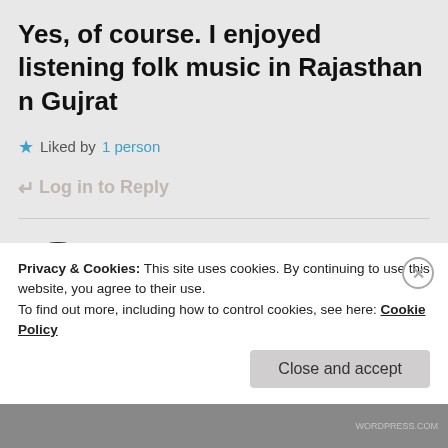Yes, of course. I enjoyed listening folk music in Rajasthan n Gujrat
★ Liked by 1 person
↵ Log in to Reply
[Figure (illustration): Yin-yang symbol (black and white circular icon)]
PHILOSOPHY THROUGH PHOTOGRAPHY
Privacy & Cookies: This site uses cookies. By continuing to use this website, you agree to their use. To find out more, including how to control cookies, see here: Cookie Policy